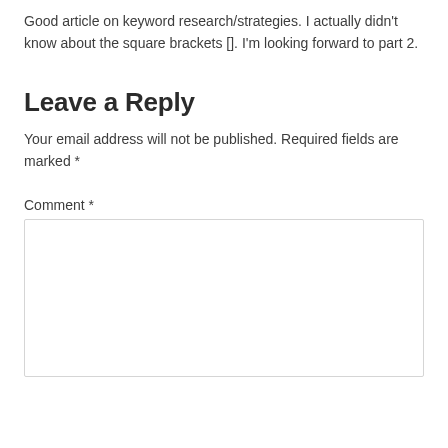Good article on keyword research/strategies. I actually didn't know about the square brackets []. I'm looking forward to part 2.
Leave a Reply
Your email address will not be published. Required fields are marked *
Comment *